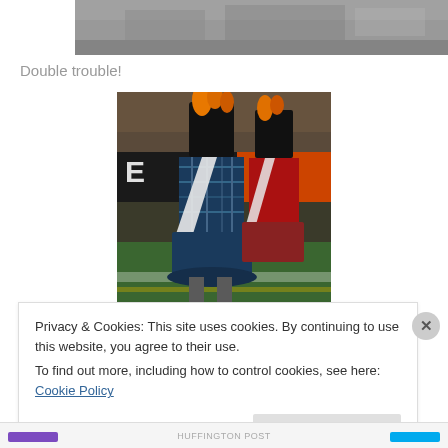[Figure (photo): Partial top photo showing a blurred/grainy outdoor scene, cropped at the top of the page]
Double trouble!
[Figure (photo): Photo of marching band performers from behind, wearing tall black bearskin hats with orange plumes and tartan/plaid kilts with white diagonal sashes, on a sports field at night]
Privacy & Cookies: This site uses cookies. By continuing to use this website, you agree to their use.
To find out more, including how to control cookies, see here: Cookie Policy
Close and accept